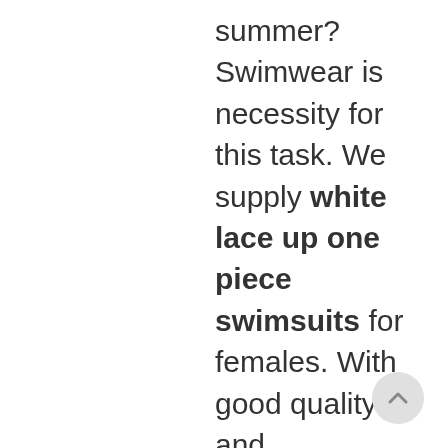summer? Swimwear is necessity for this task. We supply white lace up one piece swimsuits for females. With good quality and comfortable material, they are easy to wear as well as simple to clean, they can additionally expose your lovely number. Are you interested in them? You can inform us if you have any kind of troubles. One item swimwears offer full protection to your upper as well as lower body while keeping you trendy with different necklines. You can select from reserved high necks or stylish one shoulders relying on your mood. Skirtini is a mix of a swimwear top and a skirt that